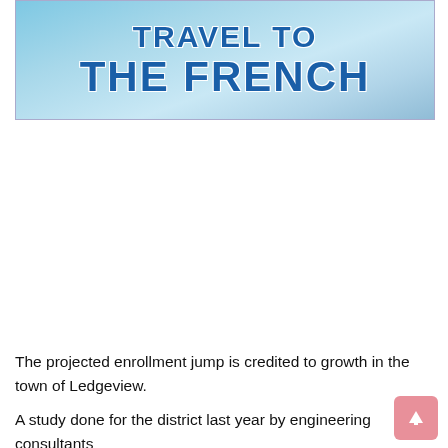[Figure (illustration): Banner image with sky/clouds background and text 'TRAVEL TO THE FRENCH' in bold blue letters]
The projected enrollment jump is credited to growth in the town of Ledgeview.
A study done for the district last year by engineering consultants